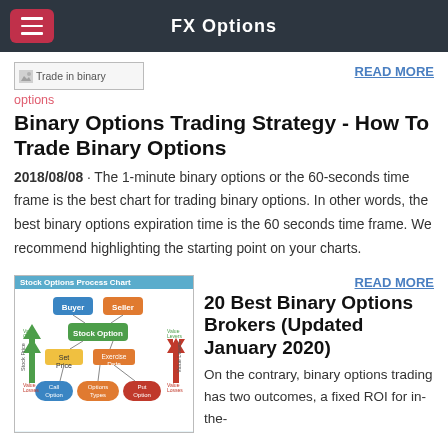FX Options
[Figure (other): Broken image placeholder - Trade in binary options]
Trade in binary options
READ MORE
Binary Options Trading Strategy - How To Trade Binary Options
2018/08/08 · The 1-minute binary options or the 60-seconds time frame is the best chart for trading binary options. In other words, the best binary options expiration time is the 60 seconds time frame. We recommend highlighting the starting point on your charts.
[Figure (infographic): Stock Options Process Chart showing Buyer, Seller, Stock Option, Set Price, Exercise Date, Value Levers, Call Option, Options Types, Put Option with arrows]
READ MORE
20 Best Binary Options Brokers (Updated January 2020)
On the contrary, binary options trading has two outcomes, a fixed ROI for in-the-